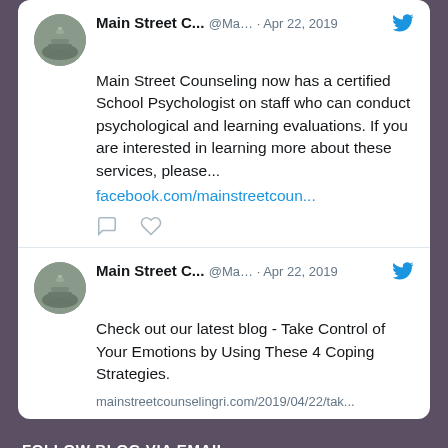[Figure (screenshot): Tweet from Main Street C... @Ma... Apr 22 2019 with stacked stones avatar and Twitter bird icon]
Main Street Counseling now has a certified School Psychologist on staff who can conduct psychological and learning evaluations.  If you are interested in learning more about these services, please...
facebook.com/mainstreetcoun...
[Figure (screenshot): Tweet from Main Street C... @Ma... Apr 22 2019 with stacked stones avatar and Twitter bird icon]
Check out our latest blog - Take Control of Your Emotions by Using These 4 Coping Strategies.
mainstreetcounselingri.com/2019/04/22/tak...
FOLLOW BLOG VIA EMAIL
Enter your email address to follow this blog and receive notifications of new posts by email.